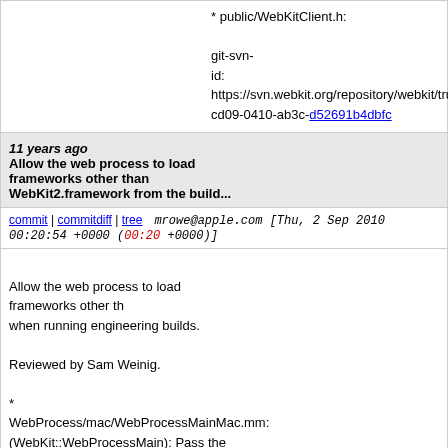* public/WebKitClient.h:

git-svn-id: https://svn.webkit.org/repository/webkit/trunk@cd09-0410-ab3c-d52691b4dbfc
11 years ago   Allow the web process to load frameworks other than WebKit2.framework from the build...
commit | commitdiff | tree   mrowe@apple.com [Thu, 2 Sep 2010 00:20:54 +0000 (00:20 +0000)]
Allow the web process to load frameworks other than WebKit2.framework when running engineering builds.

Reviewed by Sam Weinig.

* WebProcess/mac/WebProcessMainMac.mm:
(WebKit::WebProcessMain): Pass the path containing the path of the WebKit2.framework itself.

git-svn-id: https://svn.webkit.org/repository/webkit/trunk@cd09-0410-ab3c-d52691b4dbfc
11 years ago   2010-09-01 Matthew Willis <lilmatt@flock.com>
commit | commitdiff | tree   joepeck@webkit.org [Wed, 1 Sep 2010